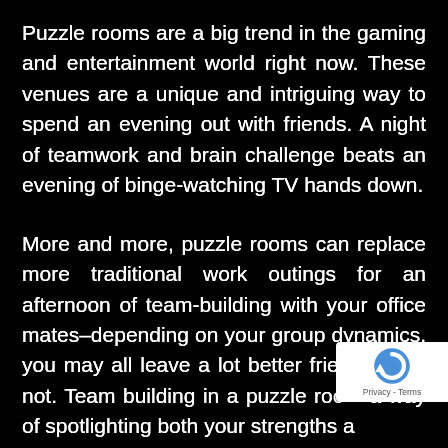Puzzle rooms are a big trend in the gaming and entertainment world right now. These venues are a unique and intriguing way to spend an evening out with friends. A night of teamwork and brain challenge beats an evening of binge-watching TV hands down.
More and more, puzzle rooms can replace more traditional work outings for an afternoon of team-building with your office mates–depending on your group dynamics, you may all leave a lot better friends, or…not. Team building in a puzzle roo[m has] a way of spotlighting both your strengths ar[nd weaknesses will be]...
[Figure (other): reCAPTCHA badge overlay in bottom-right corner showing the reCAPTCHA logo (circular arrow icon) and 'Privacy - Terms' text]